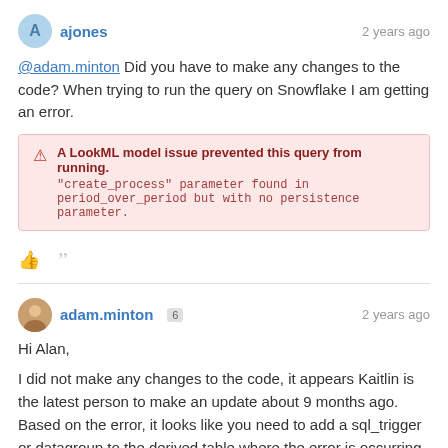ajones — 2 years ago
@adam.minton Did you have to make any changes to the code? When trying to run the query on Snowflake I am getting an error.
[Figure (screenshot): Pink error box: 'A LookML model issue prevented this query from running. "create_process" parameter found in period_over_period but with no persistence parameter.']
adam.minton 6 — 2 years ago
Hi Alan,
I did not make any changes to the code, it appears Kaitlin is the latest person to make an update about 9 months ago. Based on the error, it looks like you need to add a sql_trigger or datagroup to the derived table where the error is occurring.